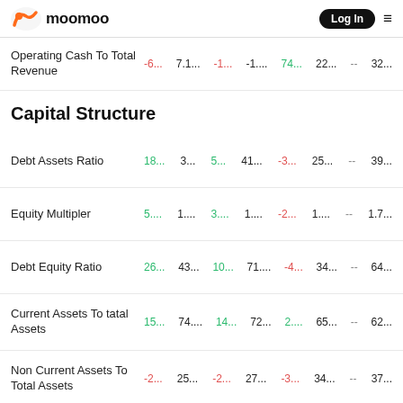moomoo Log In
Operating Cash To Total Revenue: -6... 7.1... -1... -1.... 74... 22... -- 32...
Capital Structure
Debt Assets Ratio: 18... 3... 5... 41... -3... 25... -- 39...
Equity Multipler: 5.... 1.... 3.... 1.... -2... 1.... -- 1.7...
Debt Equity Ratio: 26... 43... 10... 71.... -4... 34... -- 64...
Current Assets To tatal Assets: 15... 74.... 14... 72... 2.... 65... -- 62...
Non Current Assets To Total Assets: -2... 25... -2... 27... -3... 34... -- 37...